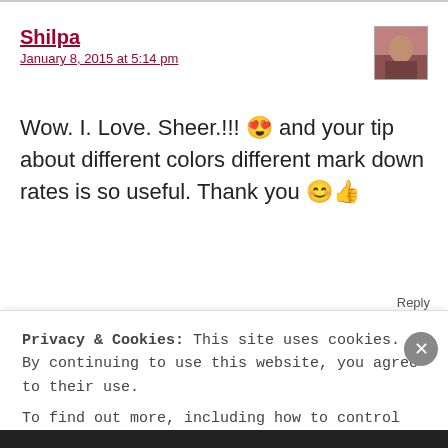Shilpa
January 8, 2015 at 5:14 pm
Wow. I. Love. Sheer.!!! 😍 and your tip about different colors different mark down rates is so useful. Thank you 😊👍
Reply
Privacy & Cookies: This site uses cookies. By continuing to use this website, you agree to their use. To find out more, including how to control cookies, see here: Cookie Policy
Close and accept